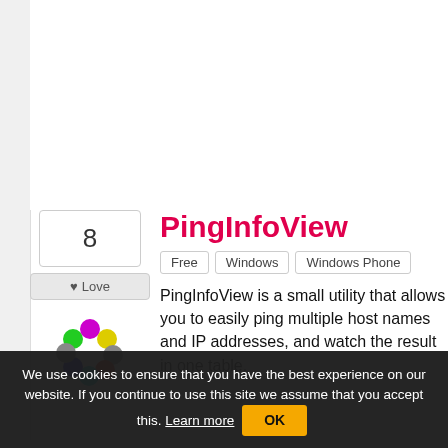8
♥ Love
[Figure (logo): Colorful circular dots arranged in a flower/circle pattern — PingInfoView app icon]
PingInfoView
Free
Windows
Windows Phone
PingInfoView is a small utility that allows you to easily ping multiple host names and IP addresses, and watch the result in one table.
4
GPING
Free
Open Source
Windows
GPING (Graphical Ping) is a powerful utility that pings and graphs multiple hosts simultaneously with a user-defined polling interval and...
We use cookies to ensure that you have the best experience on our website. If you continue to use this site we assume that you accept this. Learn more OK